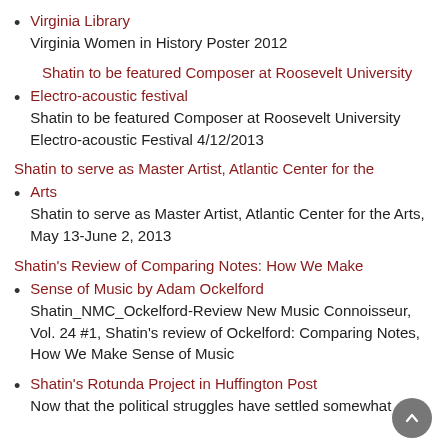Virginia Library
Virginia Women in History Poster 2012
Shatin to be featured Composer at Roosevelt University (link)
Electro-acoustic festival
Shatin to be featured Composer at Roosevelt University Electro-acoustic Festival 4/12/2013
Shatin to serve as Master Artist, Atlantic Center for the Arts
Shatin to serve as Master Artist, Atlantic Center for the Arts, May 13-June 2, 2013
Shatin's Review of Comparing Notes: How We Make Sense of Music by Adam Ockelford
Shatin_NMC_Ockelford-Review New Music Connoisseur, Vol. 24 #1, Shatin's review of Ockelford: Comparing Notes, How We Make Sense of Music
Shatin's Rotunda Project in Huffington Post
Now that the political struggles have settled somewhat